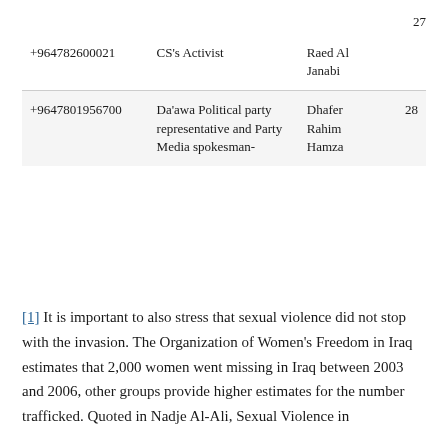27
|  | +964782600021 | CS's Activist | Raed Al Janabi |
| 28 | +9647801956700 | Da'awa Political party representative and Party Media spokesman- | Dhafer Rahim Hamza |
[1] It is important to also stress that sexual violence did not stop with the invasion. The Organization of Women's Freedom in Iraq estimates that 2,000 women went missing in Iraq between 2003 and 2006, other groups provide higher estimates for the number trafficked. Quoted in Nadje Al-Ali, Sexual Violence in